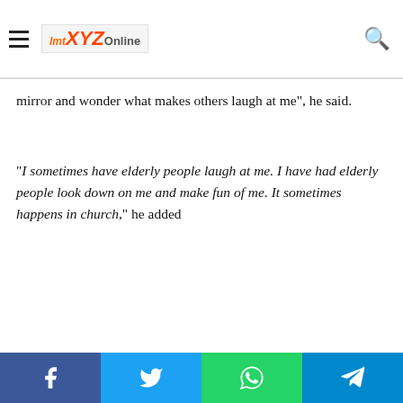XYZOnline logo and navigation
mirror and wonder what makes others laugh at me”, he said.
“I sometimes have elderly people laugh at me. I have had elderly people look down on me and make fun of me. It sometimes happens in church,” he added